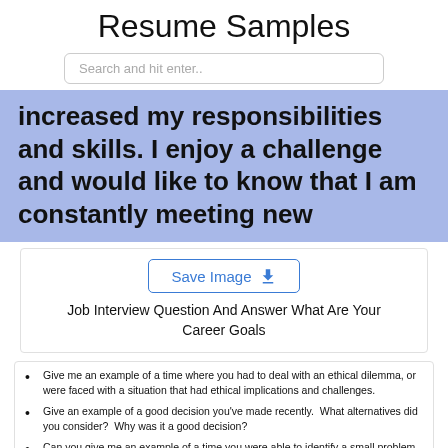Resume Samples
Search and hit enter..
increased my responsibilities and skills. I enjoy a challenge and would like to know that I am constantly meeting new
Save Image
Job Interview Question And Answer What Are Your Career Goals
Give me an example of a time where you had to deal with an ethical dilemma, or were faced with a situation that had ethical implications and challenges.
Give an example of a good decision you've made recently.  What alternatives did you consider?  Why was it a good decision?
Can you give me an example of a time you were able to identify a small problem and fix it before it became a major problem?
Tell me about a time that you saw something happen that you know was